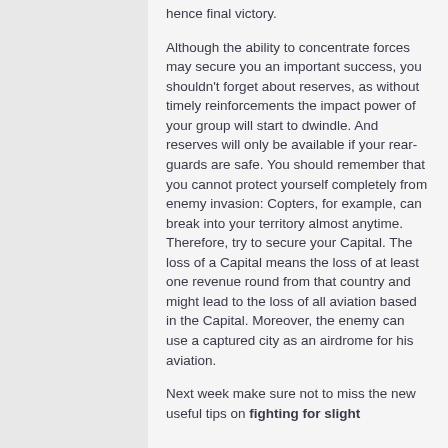hence final victory.
Although the ability to concentrate forces may secure you an important success, you shouldn't forget about reserves, as without timely reinforcements the impact power of your group will start to dwindle. And reserves will only be available if your rear-guards are safe. You should remember that you cannot protect yourself completely from enemy invasion: Copters, for example, can break into your territory almost anytime. Therefore, try to secure your Capital. The loss of a Capital means the loss of at least one revenue round from that country and might lead to the loss of all aviation based in the Capital. Moreover, the enemy can use a captured city as an airdrome for his aviation.
Next week make sure not to miss the new useful tips on fighting for slight